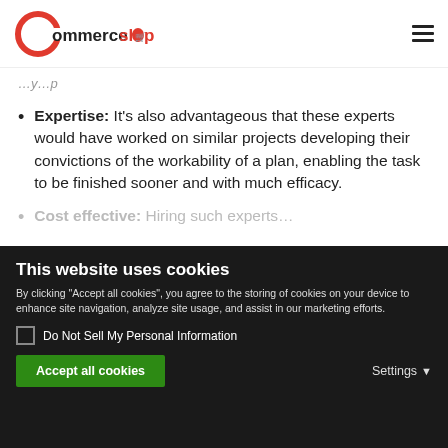CommerceSHOP
...y...p
Expertise: It's also advantageous that these experts would have worked on similar projects developing their convictions of the workability of a plan, enabling the task to be finished sooner and with much efficacy.
Cost effective: Hiring such experts...
This website uses cookies
By clicking "Accept all cookies", you agree to the storing of cookies on your device to enhance site navigation, analyze site usage, and assist in our marketing efforts.
Do Not Sell My Personal Information
Accept all cookies  Settings